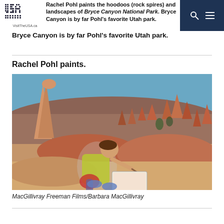Rachel Pohl paints the hoodoos (rock spires) and landscapes of Bryce Canyon National Park. Bryce Canyon is by far Pohl's favorite Utah park.
Rachel Pohl paints.
[Figure (photo): A woman in a yellow tank top sits outdoors painting on a canvas pad, surrounded by the red and orange hoodoo rock formations of Bryce Canyon National Park under a clear blue sky.]
MacGillivray Freeman Films/Barbara MacGillivray